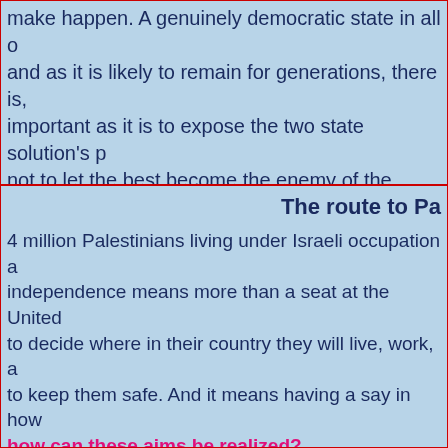make happen. A genuinely democratic state in all of and as it is likely to remain for generations, there is, important as it is to expose the two state solution's p not to let the best become the enemy of the better. P
The route to Pa
4 million Palestinians living under Israeli occupation a independence means more than a seat at the United to decide where in their country they will live, work, a to keep them safe. And it means having a say in how how can these aims be realized?
A legal analysis by Omar Dajani    click here for a plan
A similar lergal analysis (long) by David Horovitz of th
Mitchell Plitnik deconstructs a letter from the Jerusal Ban Ki-Moon. The letter purports to prove that the Pa under international law. Plitnik demonstrates that the